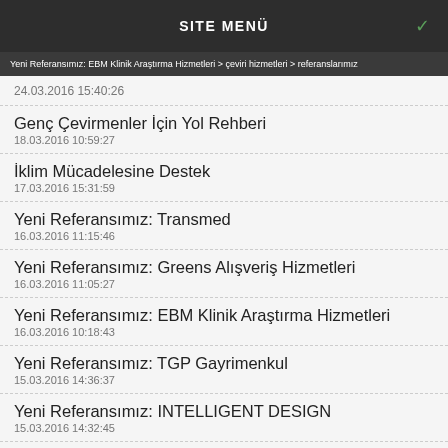SITE MENÜ
24.03.2016 15:40:26
Genç Çevirmenler İçin Yol Rehberi
18.03.2016 10:59:27
İklim Mücadelesine Destek
17.03.2016 15:31:59
Yeni Referansımız: Transmed
16.03.2016 11:15:46
Yeni Referansımız: Greens Alışveriş Hizmetleri
16.03.2016 11:05:27
Yeni Referansımız: EBM Klinik Araştırma Hizmetleri
16.03.2016 10:18:43
Yeni Referansımız: TGP Gayrimenkul
15.03.2016 14:36:37
Yeni Referansımız: INTELLIGENT DESIGN
15.03.2016 14:32:45